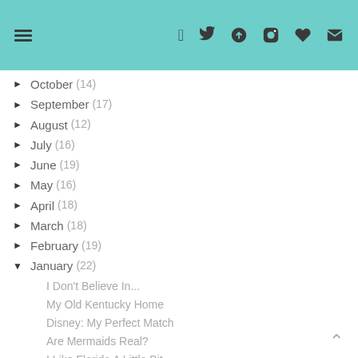Blog archive navigation header with menu and social icons
▶ October (14)
▶ September (17)
▶ August (12)
▶ July (16)
▶ June (19)
▶ May (16)
▶ April (18)
▶ March (18)
▶ February (19)
▼ January (22)
I Don't Believe In...
My Old Kentucky Home
Disney: My Perfect Match
Are Mermaids Real?
I Like Florida A Little Bit
5 Alternatives to Shoveling Snow
The Dishwashing War
I Detest Wearing Glasses
A Bear Driving a Suburban
Wonder Woman Socks